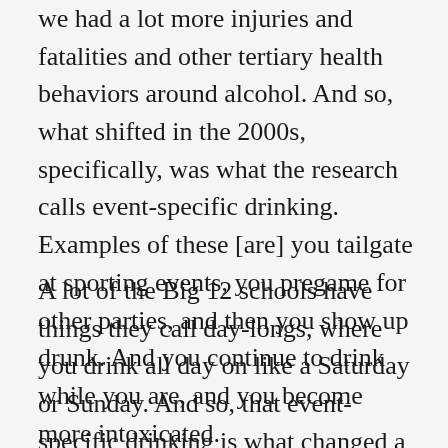we had a lot more injuries and fatalities and other tertiary health behaviors around alcohol. And so, what shifted in the 2000s, specifically, was what the research calls event-specific drinking. Examples of these [are] you tailgate at sporting events, you pregame for other parties, and then you show up drunk. And you continue to drink while you are, and you become more intoxicated.
A lot of the Big 12 schools have things they call day-longs, where you drink all day on like a Saturday or Sunday. And so, that event-specific drinking is what changed a lot. And the other thing that really changed in the